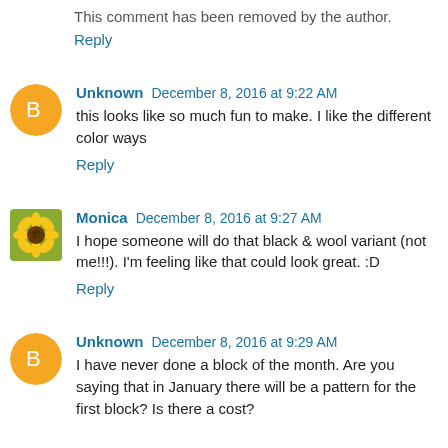This comment has been removed by the author.
Reply
Unknown  December 8, 2016 at 9:22 AM
this looks like so much fun to make. I like the different color ways
Reply
Monica  December 8, 2016 at 9:27 AM
I hope someone will do that black & wool variant (not me!!!). I'm feeling like that could look great. :D
Reply
Unknown  December 8, 2016 at 9:29 AM
I have never done a block of the month. Are you saying that in January there will be a pattern for the first block? Is there a cost?